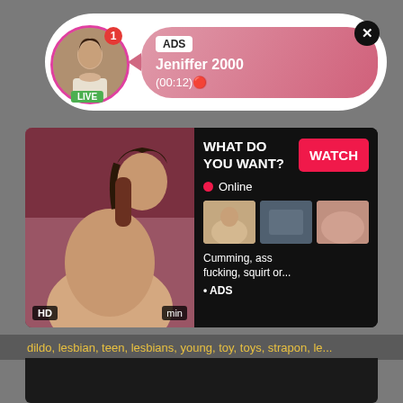[Figure (screenshot): Adult website advertisement notification bubble showing profile avatar with LIVE label, pink gradient content area with ADS badge, name 'Jeniffer 2000', timestamp '(00:12)🔴', and close button]
[Figure (screenshot): Adult webcam advertisement panel with video thumbnail on left, right side showing 'WHAT DO YOU WANT?' text with red WATCH button, Online status, three thumbnail images, description text 'Cumming, ass fucking, squirt or...' and '• ADS' label]
dildo, lesbian, teen, lesbians, young, toy, toys, strapon, le...